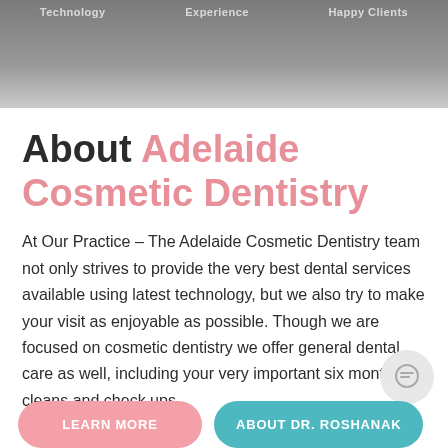Technology   Experience   Happy Clients
About Adelaide Cosmetic Dentistry
At Our Practice – The Adelaide Cosmetic Dentistry team not only strives to provide the very best dental services available using latest technology, but we also try to make your visit as enjoyable as possible. Though we are focused on cosmetic dentistry we offer general dental care as well, including your very important six monthly cleans and check ups.
LEARN MORE
ABOUT DR. ROSHANAK